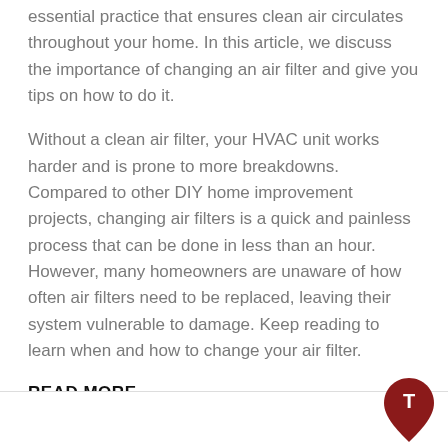essential practice that ensures clean air circulates throughout your home. In this article, we discuss the importance of changing an air filter and give you tips on how to do it.
Without a clean air filter, your HVAC unit works harder and is prone to more breakdowns. Compared to other DIY home improvement projects, changing air filters is a quick and painless process that can be done in less than an hour. However, many homeowners are unaware of how often air filters need to be replaced, leaving their system vulnerable to damage. Keep reading to learn when and how to change your air filter.
READ MORE... →